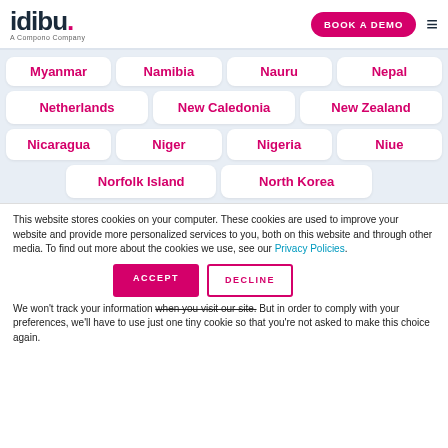[Figure (logo): idibu. A Compono Company logo]
BOOK A DEMO
Myanmar
Namibia
Nauru
Nepal
Netherlands
New Caledonia
New Zealand
Nicaragua
Niger
Nigeria
Niue
Norfolk Island
North Korea
This website stores cookies on your computer. These cookies are used to improve your website and provide more personalized services to you, both on this website and through other media. To find out more about the cookies we use, see our Privacy Policies.
We won't track your information when you visit our site. But in order to comply with your preferences, we'll have to use just one tiny cookie so that you're not asked to make this choice again.